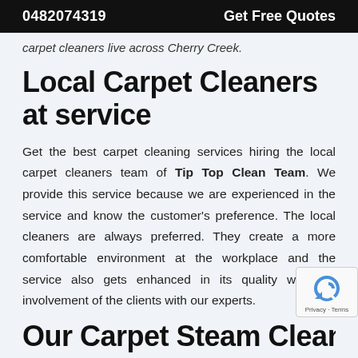0482074319   Get Free Quotes
carpet cleaners live across Cherry Creek.
Local Carpet Cleaners at service
Get the best carpet cleaning services hiring the local carpet cleaners team of Tip Top Clean Team. We provide this service because we are experienced in the service and know the customer’s preference. The local cleaners are always preferred. They create a more comfortable environment at the workplace and the service also gets enhanced in its quality with the involvement of the clients with our experts.
Our Carpet Steam Cleaning